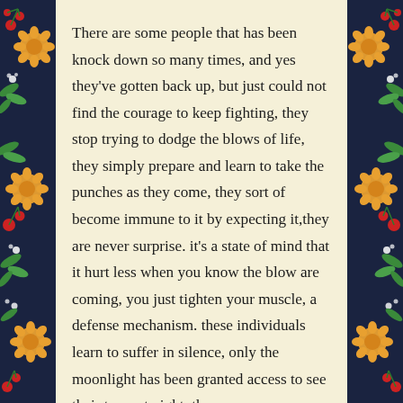There are some people that has been knock down so many times, and yes they've gotten back up, but just could not find the courage to keep fighting, they stop trying to dodge the blows of life, they simply prepare and learn to take the punches as they come, they sort of become immune to it by expecting it,they are never surprise. it's a state of mind that it hurt less when you know the blow are coming, you just tighten your muscle, a defense mechanism. these individuals learn to suffer in silence, only the moonlight has been granted access to see their tears at night, they